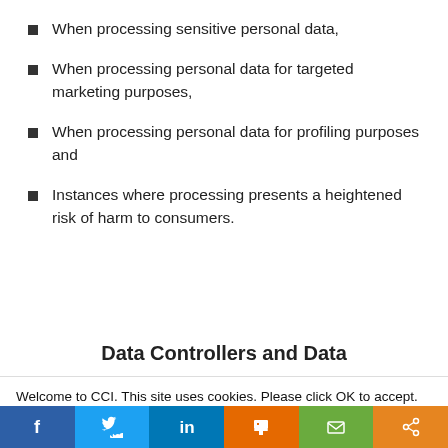When processing sensitive personal data,
When processing personal data for targeted marketing purposes,
When processing personal data for profiling purposes and
Instances where processing presents a heightened risk of harm to consumers.
Data Controllers and Data
Welcome to CCI. This site uses cookies. Please click OK to accept. Privacy Policy
Cookie settings  ACCEPT